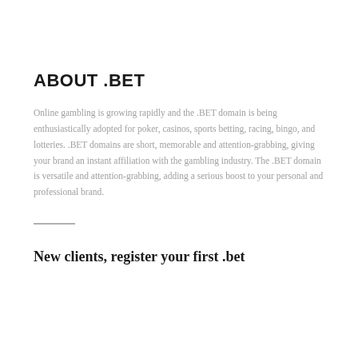ABOUT .BET
Online gambling is growing rapidly and the .BET domain is being enthusiastically adopted for poker, casinos, sports betting, racing, bingo, and lotteries. .BET domains are short, memorable and attention-grabbing, giving your brand an instant affiliation with the gambling industry. The .BET domain is versatile and attention-grabbing, adding a serious boost to your personal and professional brand.
New clients, register your first .bet